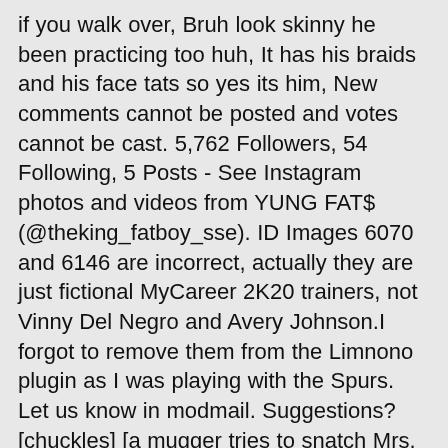if you walk over, Bruh look skinny he been practicing too huh, It has his braids and his face tats so yes its him, New comments cannot be posted and votes cannot be cast. 5,762 Followers, 54 Following, 5 Posts - See Instagram photos and videos from YUNG FAT$ (@theking_fatboy_sse). ID Images 6070 and 6146 are incorrect, actually they are just fictional MyCareer 2K20 trainers, not Vinny Del Negro and Avery Johnson.I forgot to remove them from the Limnono plugin as I was playing with the Spurs. Let us know in modmail. Suggestions? [chuckles] [a mugger tries to snatch Mrs. Doubtfire's purse] Adam ... Fatboy SSE took his Instagram career to another level and also blew some bags along the way! B1. Post not showing up? ! by TwistedLogic on Wed Nov 06, 2019 5:42 am, by PlatinumPlus on Wed Nov 06, 2019 12:26 pm, by TwistedLogic on Wed Nov 06, 2019 10:20 pm, by PlatinumPlus on Thu Nov 07, 2019 10:20 am, by